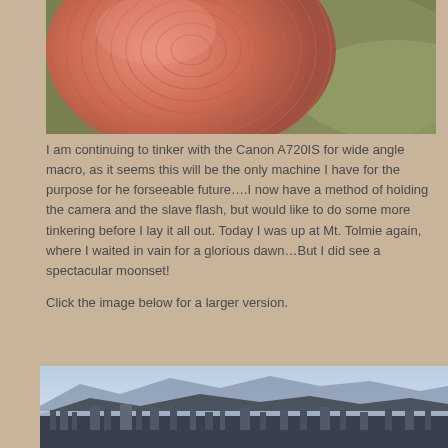[Figure (photo): Close-up macro photo of a fingertip showing fingerprint ridges in pink/salmon color against a blurred green background]
I am continuing to tinker with the Canon A720IS for wide angle macro, as it seems this will be the only machine I have for the purpose for he forseeable future….I now have a method of holding the camera and the slave flash, but would like to do some more tinkering before I lay it all out. Today I was up at Mt. Tolmie again, where I waited in vain for a glorious dawn…But I did see a spectacular moonset!
Click the image below for a larger version.
[Figure (photo): Wide panoramic landscape photo showing a cityscape in the foreground with mountains and a body of water in the background under a hazy blue sky, taken from Mt. Tolmie]